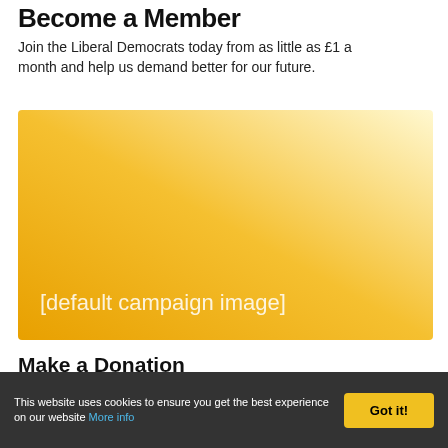Become a Member
Join the Liberal Democrats today from as little as £1 a month and help us demand better for our future.
[Figure (illustration): Default campaign image: a golden-yellow gradient rectangle with the text '[default campaign image]' in white at the bottom left.]
Make a Donation
This website uses cookies to ensure you get the best experience on our website More info